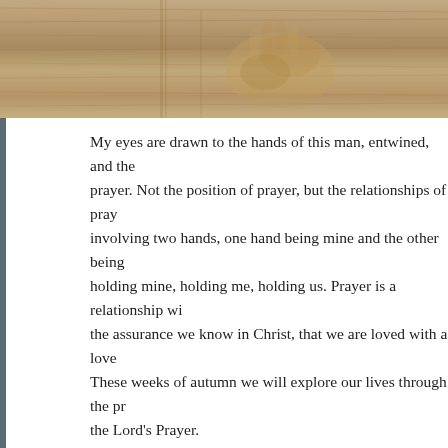[Figure (photo): Sepia-toned photograph of a man's hands entwined/clasped, resting on a wooden surface, suggesting prayer]
My eyes are drawn to the hands of this man, entwined, and the prayer. Not the position of prayer, but the relationships of pray involving two hands, one hand being mine and the other being holding mine, holding me, holding us. Prayer is a relationship wi the assurance we know in Christ, that we are loved with a love These weeks of autumn we will explore our lives through the pr the Lord's Prayer.
The doors of the sanctuary will re-open for worship at 10:30 a.m previous post for the protocols and shape of the service). The s streamed, available at 10:30 a.m. Sunday morning and anytime https://youtu.be/vUQgX0h5wkQ
Free parking is available Sunday mornings in the surface civic lo St. Andrew's, and on the streets of the neighbourhood – please restrictions north of Queen are not enforced on Sundays. For a sanctuary, please use the ramp by the door along Princess Stre